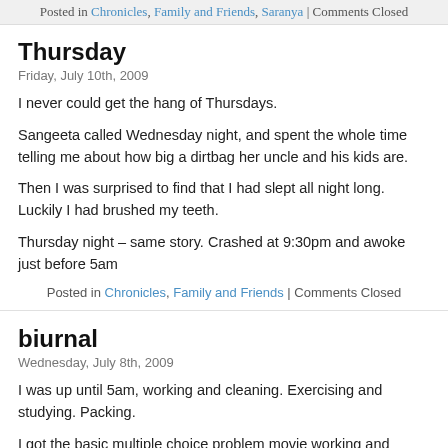Posted in Chronicles, Family and Friends, Saranya | Comments Closed
Thursday
Friday, July 10th, 2009
I never could get the hang of Thursdays.
Sangeeta called Wednesday night, and spent the whole time telling me about how big a dirtbag her uncle and his kids are.
Then I was surprised to find that I had slept all night long. Luckily I had brushed my teeth.
Thursday night – same story. Crashed at 9:30pm and awoke just before 5am
Posted in Chronicles, Family and Friends | Comments Closed
biurnal
Wednesday, July 8th, 2009
I was up until 5am, working and cleaning. Exercising and studying. Packing.
I got the basic multiple choice problem movie working and looking nice. It shows a wrist x-ray and asks you to classify it into one of four categories. After you guess, it tells you if you were accurate or not, and shows the relevant information on the x-ray.